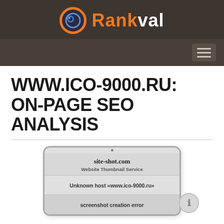[Figure (logo): Rankval logo with circular icon and orange/white text on dark brown background]
[Figure (screenshot): Navigation bar with hamburger menu button on dark brown background]
WWW.ICO-9000.RU: ON-PAGE SEO ANALYSIS
[Figure (screenshot): Tablet frame showing site-shot.com Website Thumbnail Service with error: Unknown host «www.ico-9000.ru» and screenshot creation error]